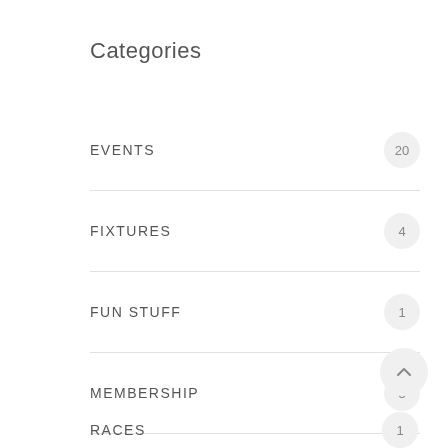Categories
EVENTS 20
FIXTURES 4
FUN STUFF 1
MEMBERSHIP 5
NEWS 84
RACE REPORT 7
RESULTS 19
RACES 1